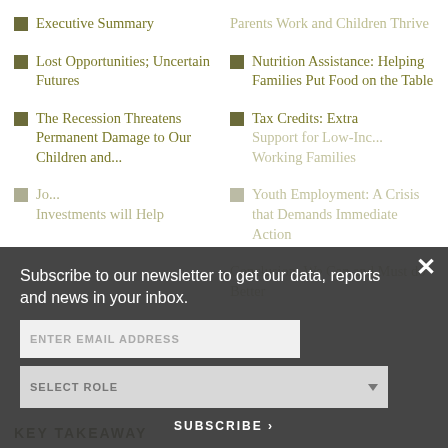Executive Summary
Lost Opportunities; Uncertain Futures
The Recession Threatens Permanent Damage to Our Children and...
Jobs... Investments will Help
Parents Work and Children Thrive
Nutrition Assistance: Helping Families Put Food on the Table
Tax Credits: Extra Support for Low-Income Working Families
Youth Employment: A Crisis that Demands Immediate Action
Conclusion: We Can and Must do Better
Subscribe to our newsletter to get our data, reports and news in your inbox.
ENTER EMAIL ADDRESS
SELECT ROLE
SUBSCRIBE ›
KEY TAKEAWAY